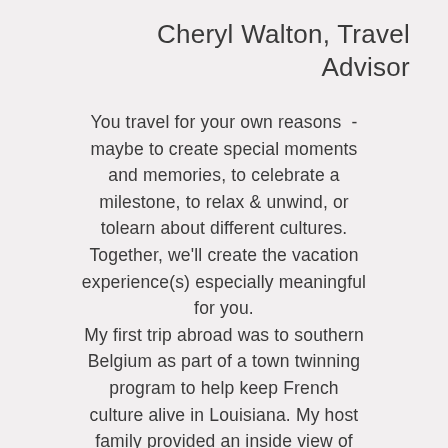Cheryl Walton, Travel Advisor
You travel for your own reasons - maybe to create special moments and memories, to celebrate a milestone, to relax & unwind, or tolearn about different cultures. Together, we'll create the vacation experience(s) especially meaningful for you. My first trip abroad was to southern Belgium as part of a town twinning program to help keep French culture alive in Louisiana. My host family provided an inside view of